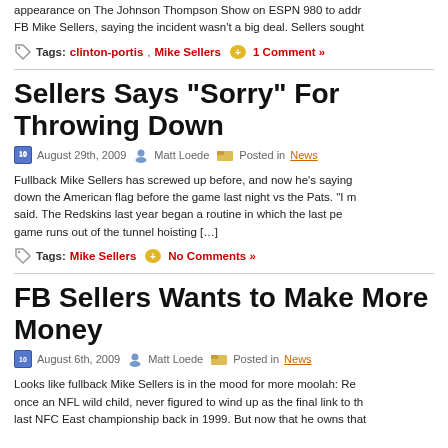appearance on The Johnson Thompson Show on ESPN 980 to address FB Mike Sellers, saying the incident wasn't a big deal. Sellers sought
Tags: clinton-portis, Mike Sellers   1 Comment »
Sellers Says “Sorry” For Throwing Down
August 29th, 2009   Matt Loede   Posted in News
Fullback Mike Sellers has screwed up before, and now he's saying down the American flag before the game last night vs the Pats. “I m said. The Redskins last year began a routine in which the last pe game runs out of the tunnel hoisting […]
Tags: Mike Sellers   No Comments »
FB Sellers Wants to Make More Money
August 6th, 2009   Matt Loede   Posted in News
Looks like fullback Mike Sellers is in the mood for more moolah: Re once an NFL wild child, never figured to wind up as the final link to th last NFC East championship back in 1999. But now that he owns that